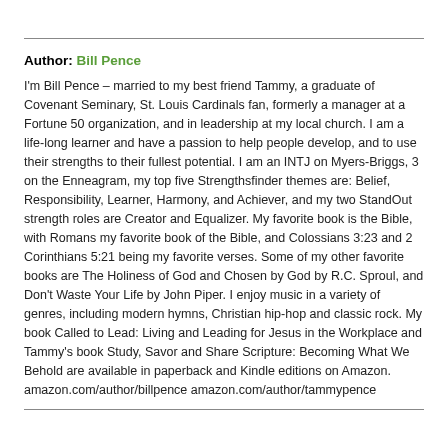Author: Bill Pence
I'm Bill Pence – married to my best friend Tammy, a graduate of Covenant Seminary, St. Louis Cardinals fan, formerly a manager at a Fortune 50 organization, and in leadership at my local church. I am a life-long learner and have a passion to help people develop, and to use their strengths to their fullest potential. I am an INTJ on Myers-Briggs, 3 on the Enneagram, my top five Strengthsfinder themes are: Belief, Responsibility, Learner, Harmony, and Achiever, and my two StandOut strength roles are Creator and Equalizer. My favorite book is the Bible, with Romans my favorite book of the Bible, and Colossians 3:23 and 2 Corinthians 5:21 being my favorite verses. Some of my other favorite books are The Holiness of God and Chosen by God by R.C. Sproul, and Don't Waste Your Life by John Piper. I enjoy music in a variety of genres, including modern hymns, Christian hip-hop and classic rock. My book Called to Lead: Living and Leading for Jesus in the Workplace and Tammy's book Study, Savor and Share Scripture: Becoming What We Behold are available in paperback and Kindle editions on Amazon. amazon.com/author/billpence amazon.com/author/tammypence